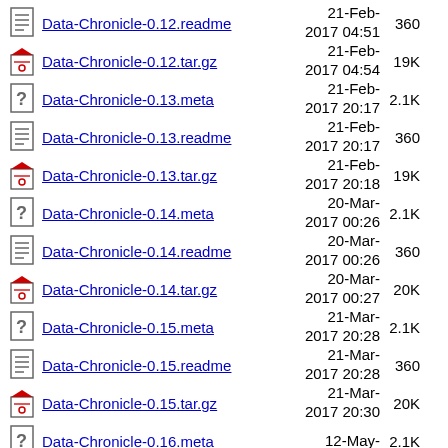Data-Chronicle-0.12.readme  21-Feb-2017 04:51  360
Data-Chronicle-0.12.tar.gz  21-Feb-2017 04:54  19K
Data-Chronicle-0.13.meta  21-Feb-2017 20:17  2.1K
Data-Chronicle-0.13.readme  21-Feb-2017 20:17  360
Data-Chronicle-0.13.tar.gz  21-Feb-2017 20:18  19K
Data-Chronicle-0.14.meta  20-Mar-2017 00:26  2.1K
Data-Chronicle-0.14.readme  20-Mar-2017 00:26  360
Data-Chronicle-0.14.tar.gz  20-Mar-2017 00:27  20K
Data-Chronicle-0.15.meta  21-Mar-2017 20:28  2.1K
Data-Chronicle-0.15.readme  21-Mar-2017 20:28  360
Data-Chronicle-0.15.tar.gz  21-Mar-2017 20:30  20K
Data-Chronicle-0.16.meta  12-May-...  2.1K